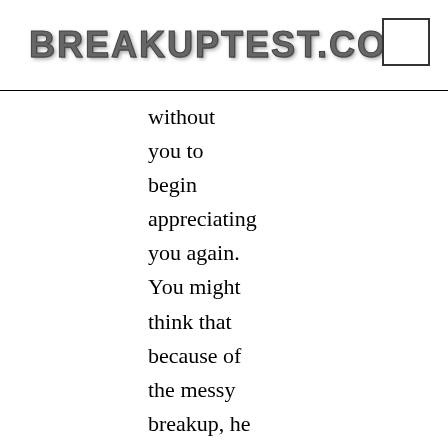BREAKUPTEST.COM
without you to begin appreciating you again. You might think that because of the messy breakup, he will never want to talk to you again, but all it will take is